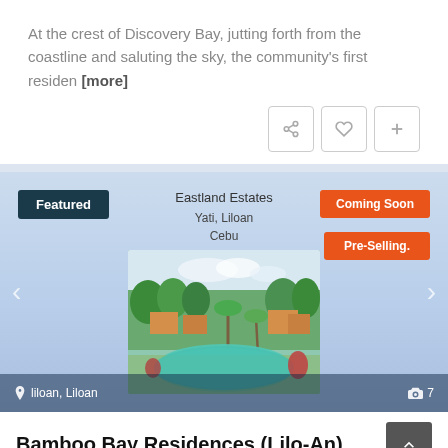At the crest of Discovery Bay, jutting forth from the coastline and saluting the sky, the community’s first residen [more]
[Figure (screenshot): Featured real estate listing card for Eastland Estates in Yati, Liloan, Cebu. Shows a property image with pool and gardens. Badges: Featured (dark teal), Coming Soon (orange), Pre-Selling (orange). Navigation arrows on sides. Footer shows location 'liloan, Liloan' and photo count '7'.]
Bamboo Bay Residences (Lilo-An)